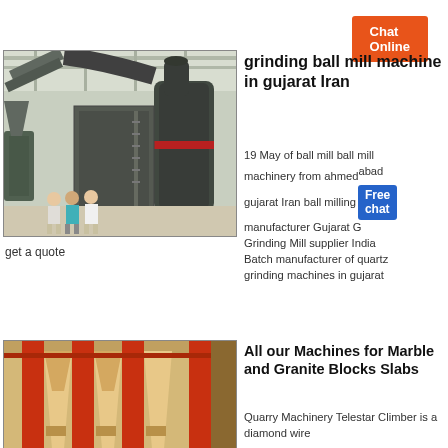Chat Online
[Figure (photo): Industrial ball mill grinding plant interior with conveyor belts and large machinery, three workers standing in foreground]
grinding ball mill machine in gujarat Iran
19 May of ball mill ball mill machinery from ahmedabad gujarat Iran ball milling manufacturer Gujarat Grinding Mill supplier India Batch manufacturer of quartz grinding machines in gujarat
[Figure (other): Free chat badge overlay on photo]
get a quote
Chat Online
[Figure (photo): Red and beige industrial hoppers or silos interior with structural steel columns]
All our Machines for Marble and Granite Blocks Slabs
Quarry Machinery Telestar Climber is a diamond wire